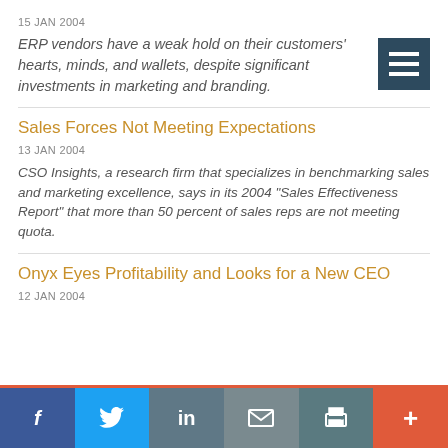15 JAN 2004
ERP vendors have a weak hold on their customers' hearts, minds, and wallets, despite significant investments in marketing and branding.
Sales Forces Not Meeting Expectations
13 JAN 2004
CSO Insights, a research firm that specializes in benchmarking sales and marketing excellence, says in its 2004 "Sales Effectiveness Report" that more than 50 percent of sales reps are not meeting quota.
Onyx Eyes Profitability and Looks for a New CEO
12 JAN 2004
f  t  in  mail  print  +